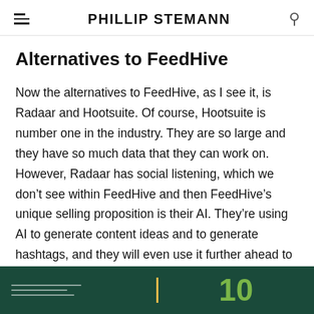PHILLIP STEMANN
Alternatives to FeedHive
Now the alternatives to FeedHive, as I see it, is Radaar and Hootsuite. Of course, Hootsuite is number one in the industry. They are so large and they have so much data that they can work on. However, Radaar has social listening, which we don't see within FeedHive and then FeedHive's unique selling proposition is their AI. They're using AI to generate content ideas and to generate hashtags, and they will even use it further ahead to be able to generate actual content.
[Figure (other): Dark green banner at the bottom of the page, divided by a yellow vertical line. Left side shows white horizontal lines. Right side shows a large green number partially visible.]